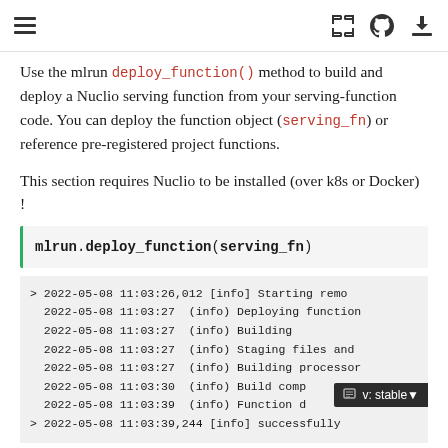Use the mlrun deploy_function() method to build and deploy a Nuclio serving function from your serving-function code. You can deploy the function object (serving_fn) or reference pre-registered project functions.
This section requires Nuclio to be installed (over k8s or Docker) !
mlrun.deploy_function(serving_fn)
> 2022-05-08 11:03:26,012 [info] Starting remo
2022-05-08 11:03:27  (info) Deploying function
2022-05-08 11:03:27  (info) Building
2022-05-08 11:03:27  (info) Staging files and
2022-05-08 11:03:27  (info) Building processor
2022-05-08 11:03:30  (info) Build comp
2022-05-08 11:03:39  (info) Function d    y
> 2022-05-08 11:03:39,244 [info] successfully